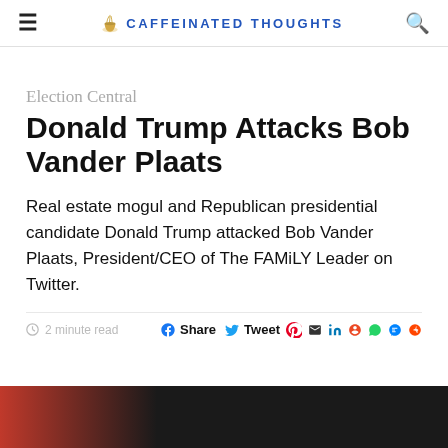≡  CAFFEINATED THOUGHTS  🔍
Election Central
Donald Trump Attacks Bob Vander Plaats
Real estate mogul and Republican presidential candidate Donald Trump attacked Bob Vander Plaats, President/CEO of The FAMiLY Leader on Twitter.
2 minute read  Share  Tweet
[Figure (photo): Bottom strip image partially visible, appears to be a news photo with red and dark tones]